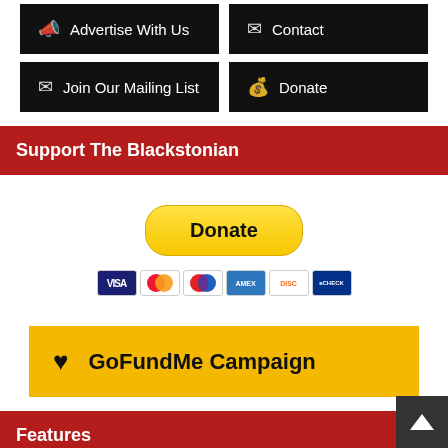[Figure (screenshot): Two black buttons: 'Advertise With Us' (with megaphone icon) and 'Contact' (with envelope icon)]
[Figure (screenshot): Two black buttons: 'Join Our Mailing List' (with envelope icon) and 'Donate' (with money bag icon)]
Support The Blackstonian
[Figure (screenshot): PayPal Donate button (yellow rounded pill) above a row of payment card icons: Visa, Mastercard, Maestro, American Express, Discover, eCheck]
[Figure (screenshot): Yellow GoFundMe Campaign button with heart icon]
Features
[Figure (screenshot): Light gray card with shopping cart icon and text 'BostonBlackBiz.com']
[Figure (screenshot): Dark scroll-to-top button with up arrow, bottom right corner]